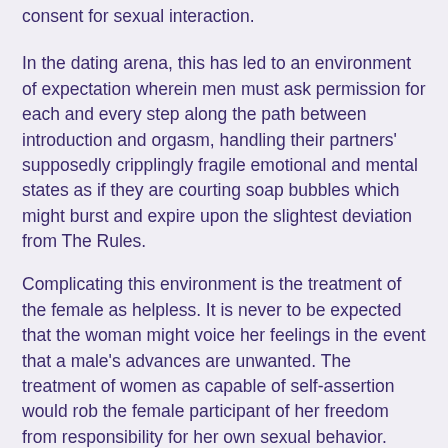consent for sexual interaction.
In the dating arena, this has led to an environment of expectation wherein men must ask permission for each and every step along the path between introduction and orgasm, handling their partners' supposedly cripplingly fragile emotional and mental states as if they are courting soap bubbles which might burst and expire upon the slightest deviation from The Rules.
Complicating this environment is the treatment of the female as helpless. It is never to be expected that the woman might voice her feelings in the event that a male's advances are unwanted. The treatment of women as capable of self-assertion would rob the female participant of her freedom from responsibility for her own sexual behavior. Therefore, it must be assumed that the otherwise strong and liberated woman's disabling psychological weakness may prevent her from verbally refusing sex. This leads to the capability among women to use withholding information to transfer the responsibility for their own sexual decisions to their partners. Simply by not speaking up, a woman may imply consent thereby leaving it ambiguous, retaining the right to later